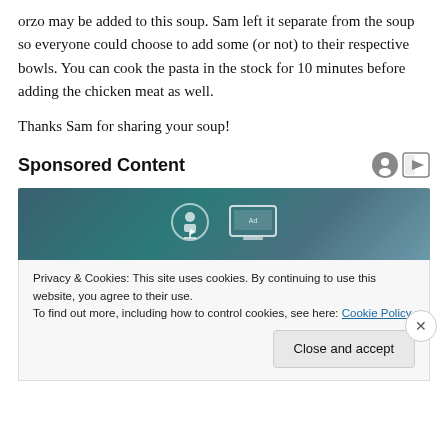orzo may be added to this soup. Sam left it separate from the soup so everyone could choose to add some (or not) to their respective bowls. You can cook the pasta in the stock for 10 minutes before adding the chicken meat as well.
Thanks Sam for sharing your soup!
Sponsored Content
[Figure (photo): Dark teal/blue toned advertisement image with laptop and audio icons visible]
Privacy & Cookies: This site uses cookies. By continuing to use this website, you agree to their use.
To find out more, including how to control cookies, see here: Cookie Policy